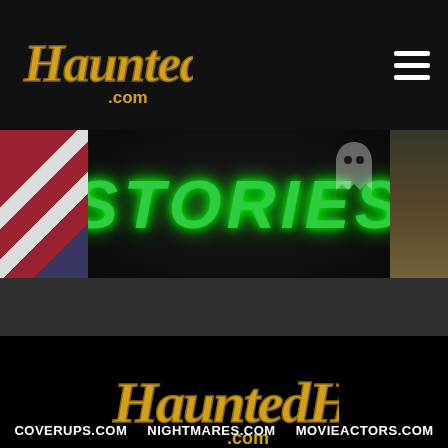[Figure (logo): HauntedHouses.com logo in yellow/gold gothic lettering on dark nav bar]
[Figure (screenshot): Banner image showing 'STORIES' in green glowing text on dark background, with partial images of American flag on left and person on right]
[Figure (logo): Large HauntedHouses.com logo in yellow/gold gothic lettering centered on black background]
Haunted Hotels, etc
COVERUPS.COM   NIGHTMARES.COM   MOVIEACTORS.COM